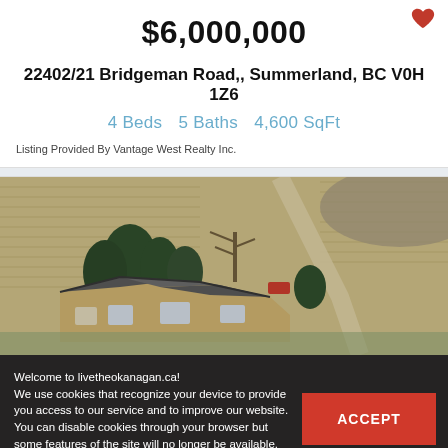$6,000,000
22402/21 Bridgeman Road,, Summerland, BC V0H 1Z6
4 Beds   5 Baths   4,600 SqFt
Listing Provided By Vantage West Realty Inc.
[Figure (photo): Aerial view of a large residential property surrounded by agricultural fields with a winding driveway and trees]
Welcome to livetheokanagan.ca! We use cookies that recognize your device to provide you access to our service and to improve our website. You can disable cookies through your browser but some features of the site will no longer be available. To read our Privacy Policy, click here.